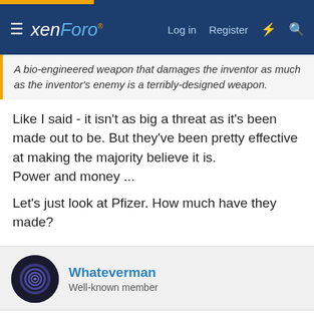xenForo | Log in | Register
A bio-engineered weapon that damages the inventor as much as the inventor's enemy is a terribly-designed weapon.
Like I said - it isn't as big a threat as it's been made out to be. But they've been pretty effective at making the majority believe it is.
Power and money ...

Let's just look at Pfizer. How much have they made?
Whateverman
Well-known member
Sep 24, 2021
#109
evoguy313 said:
Given the jokes that were the election fraud lawsuits and hearings, I no longer consider "sworn affidavits" (or 'affa-davids' as that drunken